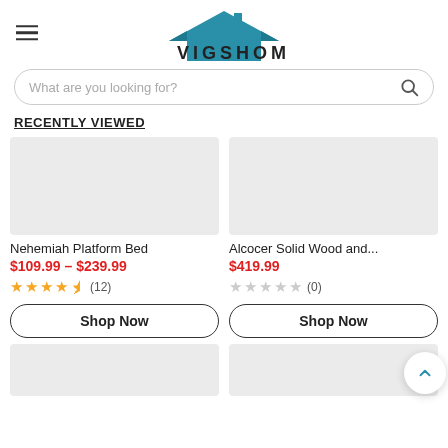[Figure (logo): VIGSHOME logo with house/roof icon above the text]
What are you looking for?
RECENTLY VIEWED
[Figure (photo): Product image placeholder (grey) for Nehemiah Platform Bed]
[Figure (photo): Product image placeholder (grey) for Alcocer Solid Wood and...]
Nehemiah Platform Bed
$109.99 – $239.99
★★★★½ (12)
Alcocer Solid Wood and...
$419.99
☆☆☆☆☆ (0)
Shop Now
Shop Now
[Figure (photo): Product image placeholder (grey) for second row left]
[Figure (photo): Product image placeholder (grey) for second row right]